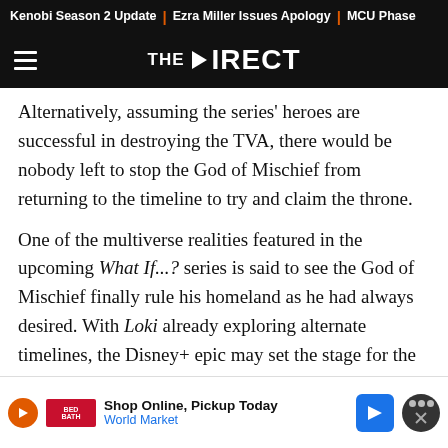Kenobi Season 2 Update | Ezra Miller Issues Apology | MCU Phase
THE DIRECT
Alternatively, assuming the series' heroes are successful in destroying the TVA, there would be nobody left to stop the God of Mischief from returning to the timeline to try and claim the throne.
One of the multiverse realities featured in the upcoming What If...? series is said to see the God of Mischief finally rule his homeland as he had always desired. With Loki already exploring alternate timelines, the Disney+ epic may set the stage for the animated venture by teasing so...